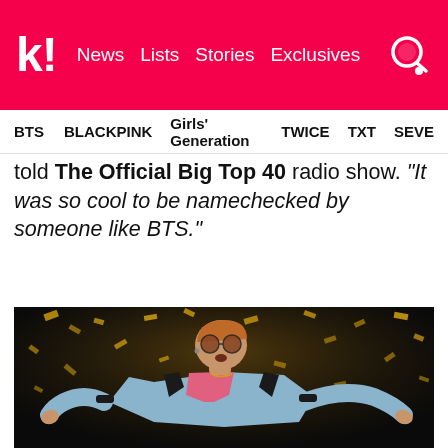k! News Lists Stories Exclusives
BTS BLACKPINK Girls' Generation TWICE TXT SEVE
told The Official Big Top 40 radio show. "It was so cool to be namechecked by someone like BTS."
[Figure (photo): Elton John performing on stage in a light blue suit with black accents and pink shirt, wearing round tinted sunglasses, arms spread wide, surrounded by falling gold confetti against a dark background]